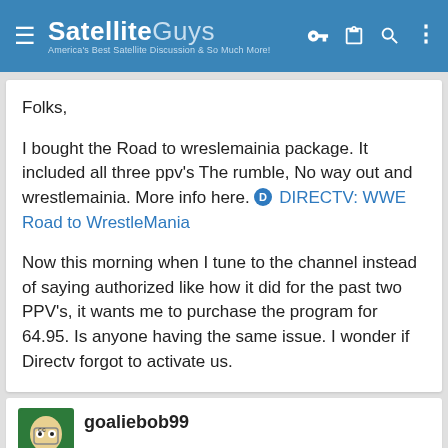SatelliteGuys — America's Best Satellite Discussion & So Much More!
Folks,

I bought the Road to wreslemainia package. It included all three ppv's The rumble, No way out and wrestlemainia. More info here. DIRECTV: WWE Road to WrestleMania

Now this morning when I tune to the channel instead of saying authorized like how it did for the past two PPV's, it wants me to purchase the program for 64.95. Is anyone having the same issue. I wonder if Directv forgot to activate us.
goaliebob99
Thread Starter